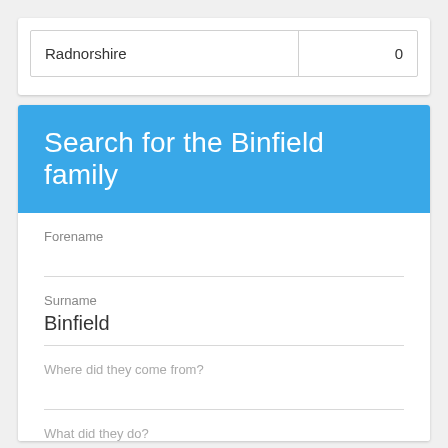| Radnorshire | 0 |
Search for the Binfield family
Forename
Surname
Binfield
Where did they come from?
What did they do?